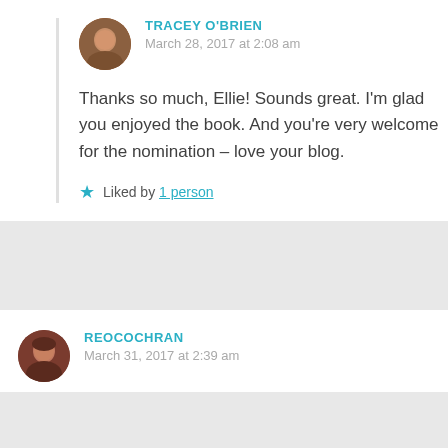TRACEY O'BRIEN
March 28, 2017 at 2:08 am
Thanks so much, Ellie! Sounds great. I'm glad you enjoyed the book. And you're very welcome for the nomination – love your blog.
Liked by 1 person
REOCOCHRAN
March 31, 2017 at 2:39 am